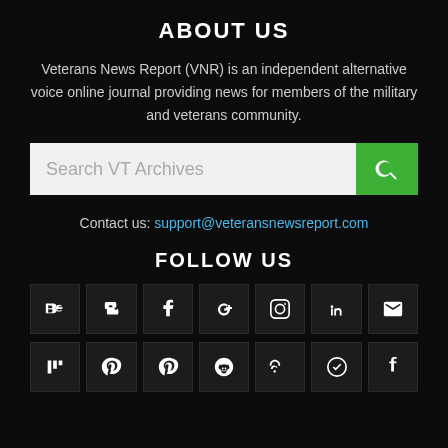ABOUT US
Veterans News Report (VNR) is an independent alternative voice online journal providing news for members of the military and veterans community.
[Figure (other): Search bar with placeholder text 'Search VT Archives' and a green search button with magnifying glass icon]
Contact us: support@veteransnewsreport.com
FOLLOW US
[Figure (other): Two rows of social media icon buttons: Row 1: Behance, Blogger, Facebook, Google+, Instagram, LinkedIn, Email. Row 2: Mix, Pinterest, Pinterest, Reddit, RSS, Telegram, Tumblr]